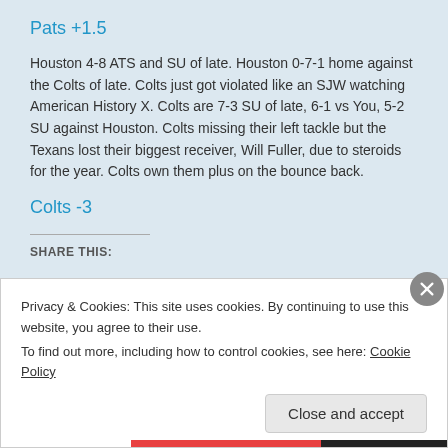Pats +1.5
Houston 4-8 ATS and SU of late. Houston 0-7-1 home against the Colts of late. Colts just got violated like an SJW watching American History X. Colts are 7-3 SU of late, 6-1 vs You, 5-2 SU against Houston. Colts missing their left tackle but the Texans lost their biggest receiver, Will Fuller, due to steroids for the year. Colts own them plus on the bounce back.
Colts -3
SHARE THIS:
Privacy & Cookies: This site uses cookies. By continuing to use this website, you agree to their use.
To find out more, including how to control cookies, see here: Cookie Policy
Close and accept